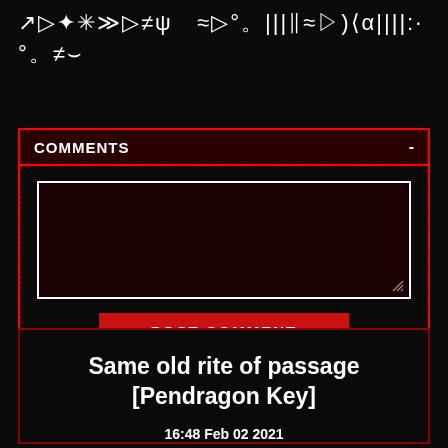Symbolic/decorative characters (Wingdings-style): ↗ ▷ ✦ ✳≫ ▷ ≠ ψ  ≈▷°。|||‖≈▷)⟨α||||:· °。≠⌣
COMMENTS  -
[Figure (screenshot): Dark red comment input textarea box with white border and resize handle in bottom-right corner]
POST COMMENT
Same old rite of passage [Pendragon Key]
16:48 Feb 02 2021
Times Read: 1,754